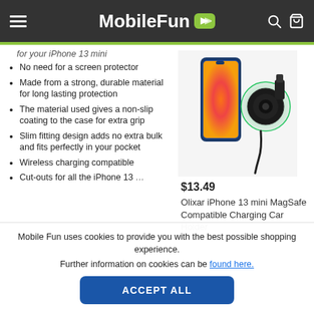MobileFun
for your iPhone 13 mini
No need for a screen protector
Made from a strong, durable material for long lasting protection
The material used gives a non-slip coating to the case for extra grip
Slim fitting design adds no extra bulk and fits perfectly in your pocket
Wireless charging compatible
Cut-outs for all the iPhone 13
[Figure (photo): Olixar iPhone 13 mini MagSafe Compatible Charging Car Holder product image showing a phone and a circular MagSafe car mount]
$13.49
Olixar iPhone 13 mini MagSafe Compatible Charging Car Holder
Mobile Fun uses cookies to provide you with the best possible shopping experience.
Further information on cookies can be found here.
ACCEPT ALL